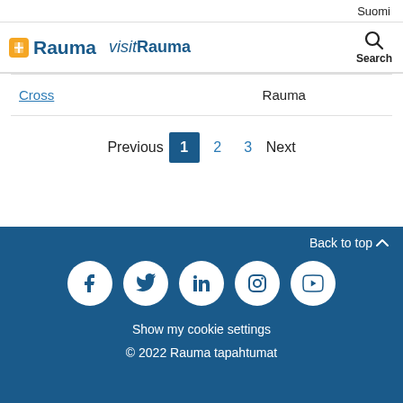Suomi
[Figure (logo): Rauma city logo with orange icon and visitRauma italic logo, plus search icon]
| Cross | Rauma |
| --- | --- |
| Cross | Rauma |
Previous 1 2 3 Next
Back to top ^ | Social icons: Facebook, Twitter, LinkedIn, Instagram, YouTube | Show my cookie settings | © 2022 Rauma tapahtumat